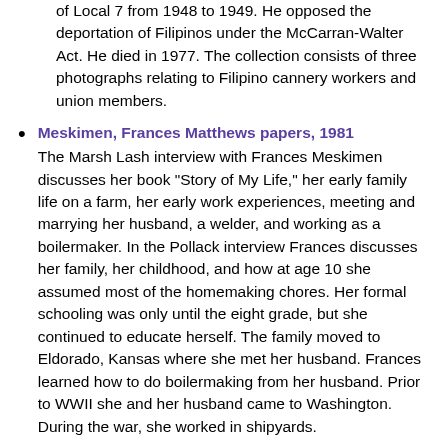of Local 7 from 1948 to 1949. He opposed the deportation of Filipinos under the McCarran-Walter Act. He died in 1977. The collection consists of three photographs relating to Filipino cannery workers and union members.
Meskimen, Frances Matthews papers, 1981 — The Marsh Lash interview with Frances Meskimen discusses her book "Story of My Life," her early family life on a farm, her early work experiences, meeting and marrying her husband, a welder, and working as a boilermaker. In the Pollack interview Frances discusses her family, her childhood, and how at age 10 she assumed most of the homemaking chores. Her formal schooling was only until the eight grade, but she continued to educate herself. The family moved to Eldorado, Kansas where she met her husband. Frances learned how to do boilermaking from her husband. Prior to WWII she and her husband came to Washington. During the war, she worked in shipyards.
Miller, Charles "Al" papers, circa 1938, 2011 — These materials appear to be ephemera collected by Robert Miller from his grandfather, Charles Al Miller, about the International Longshore Association (ILA), precursor union to the International Longshore and Warehouse Union (ILWU). Materials include the March 30, 1938 issue of the "ILA...